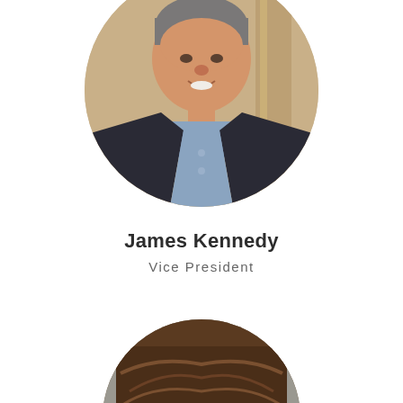[Figure (photo): Circular portrait photo of James Kennedy, a man in a dark blazer and light blue checked shirt, smiling, photographed from the chest up against a warm beige/gold architectural background.]
James Kennedy
Vice President
[Figure (photo): Circular portrait photo partially visible at the bottom of the page, showing a woman with dark brown hair, only the top portion of the head visible.]